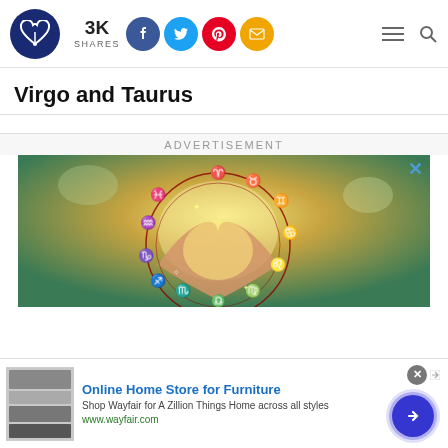Virgo and Taurus — website header with logo, 3K SHARES, social share buttons (Facebook, Twitter, Pinterest, Email), hamburger menu and search icon
Virgo and Taurus
ADVERTISEMENT
[Figure (photo): Zodiac wheel overlaid on two hands forming a heart shape, with astrological symbols in orange/red on a glowing golden background]
[Figure (screenshot): Bottom advertisement banner: Online Home Store for Furniture — Shop Wayfair for A Zillion Things Home across all styles — www.wayfair.com, with furniture image thumbnail and CTA button]